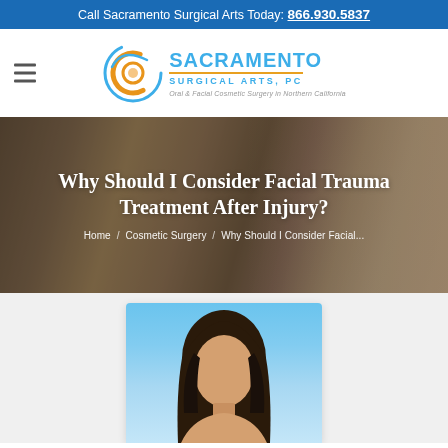Call Sacramento Surgical Arts Today: 866.930.5837
[Figure (logo): Sacramento Surgical Arts PC logo with circular swirl icon and text: SACRAMENTO SURGICAL ARTS, PC — Oral & Facial Cosmetic Surgery in Northern California]
Why Should I Consider Facial Trauma Treatment After Injury?
Home / Cosmetic Surgery / Why Should I Consider Facial...
[Figure (photo): Photo of a young woman with long dark hair against a light blue background, cropped at top of frame]